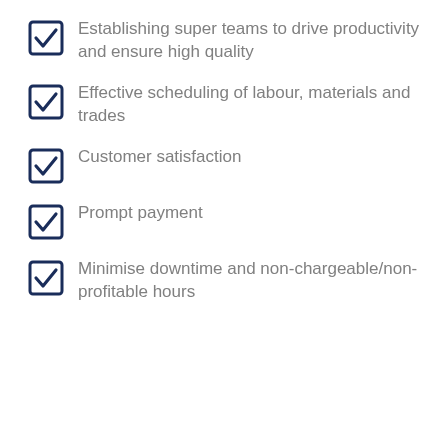Establishing super teams to drive productivity and ensure high quality
Effective scheduling of labour, materials and trades
Customer satisfaction
Prompt payment
Minimise downtime and non-chargeable/non-profitable hours